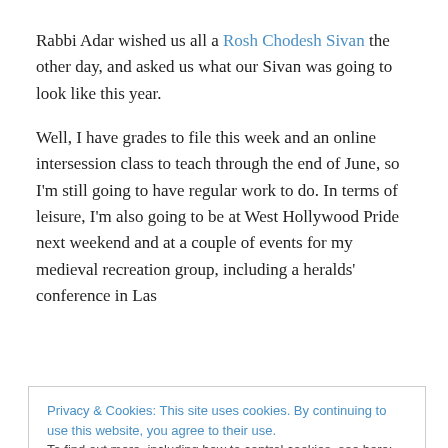Rabbi Adar wished us all a Rosh Chodesh Sivan the other day, and asked us what our Sivan was going to look like this year.
Well, I have grades to file this week and an online intersession class to teach through the end of June, so I'm still going to have regular work to do. In terms of leisure, I'm also going to be at West Hollywood Pride next weekend and at a couple of events for my medieval recreation group, including a heralds' conference in Las
Privacy & Cookies: This site uses cookies. By continuing to use this website, you agree to their use.
To find out more, including how to control cookies, see here: Cookie Policy
better about my morning prayer practices (I'm still hit-and-